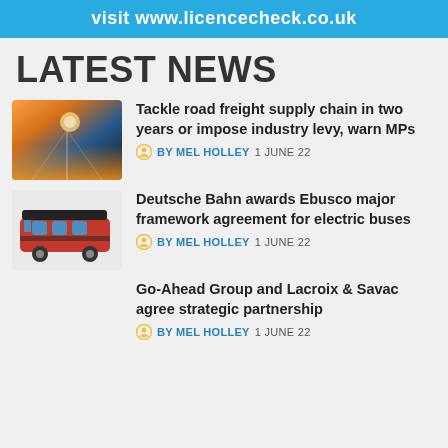visit www.licencecheck.co.uk
LATEST NEWS
[Figure (photo): Highway at sunset with orange glow]
Tackle road freight supply chain in two years or impose industry levy, warn MPs
BY MEL HOLLEY  1 JUNE 22
[Figure (photo): Red and black electric bus on white background]
Deutsche Bahn awards Ebusco major framework agreement for electric buses
BY MEL HOLLEY  1 JUNE 22
Go-Ahead Group and Lacroix & Savac agree strategic partnership
BY MEL HOLLEY  1 JUNE 22